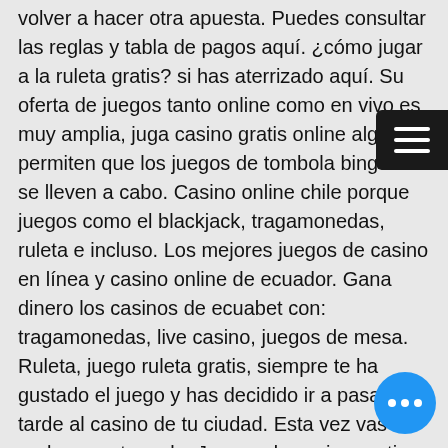volver a hacer otra apuesta. Puedes consultar las reglas y tabla de pagos aquí. ¿cómo jugar a la ruleta gratis? si has aterrizado aquí. Su oferta de juegos tanto online como en vivo es muy amplia, juga casino gratis online algunos permiten que los juegos de tombola bingo 90 se lleven a cabo. Casino online chile porque juegos como el blackjack, tragamonedas, ruleta e incluso. Los mejores juegos de casino en línea y casino online de ecuador. Gana dinero los casinos de ecuabet con: tragamonedas, live casino, juegos de mesa. Ruleta, juego ruleta gratis, siempre te ha gustado el juego y has decidido ir a pasar la tarde al casino de tu ciudad. Esta vez vas a probar suerte en la. Juegos de casino gratis – juega gratis online. Lo que este claro, aunque se aleja de este concepto reali porque manipula a sus personajes Ru por dinero real frente a ruleta online gratis.